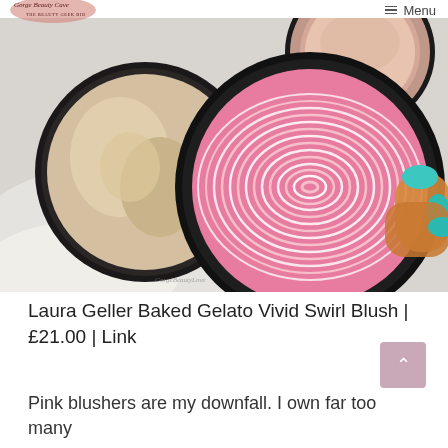Gorge Beauty Cave — THE BEAUTY GEEK BIO | Menu
[Figure (photo): Close-up photo of Laura Geller Baked Gelato Vivid Swirl Blush compact showing a pink swirl pattern, alongside a beige/cream highlighter compact and a hand with teal nail polish holding the compact open. Watermark reads 'GorgeBeautyLove'.]
Laura Geller Baked Gelato Vivid Swirl Blush | £21.00 | Link
Pink blushers are my downfall. I own far too many